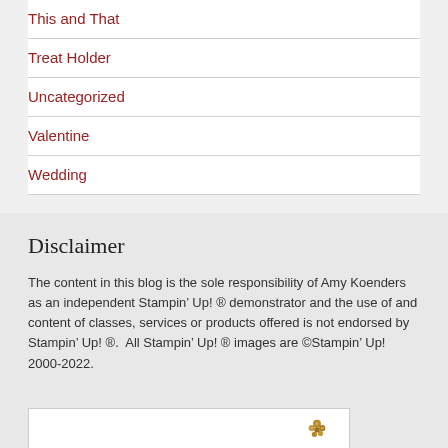This and That
Treat Holder
Uncategorized
Valentine
Wedding
Disclaimer
The content in this blog is the sole responsibility of Amy Koenders as an independent Stampin’ Up! ® demonstrator and the use of and content of classes, services or products offered is not endorsed by Stampin’ Up! ®.  All Stampin’ Up! ® images are ©Stampin’ Up! 2000-2022.
[Figure (other): Partial view of a card or image panel with a decorative floral/berry embellishment in the right area, white background with a thin border.]